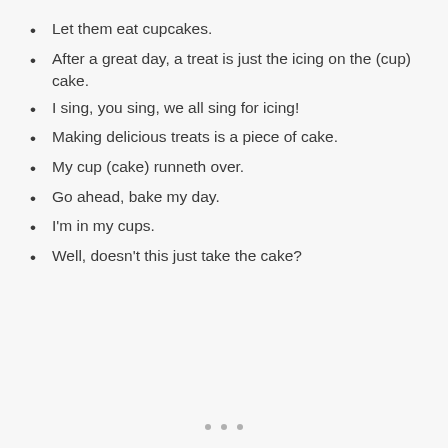Let them eat cupcakes.
After a great day, a treat is just the icing on the (cup) cake.
I sing, you sing, we all sing for icing!
Making delicious treats is a piece of cake.
My cup (cake) runneth over.
Go ahead, bake my day.
I'm in my cups.
Well, doesn't this just take the cake?